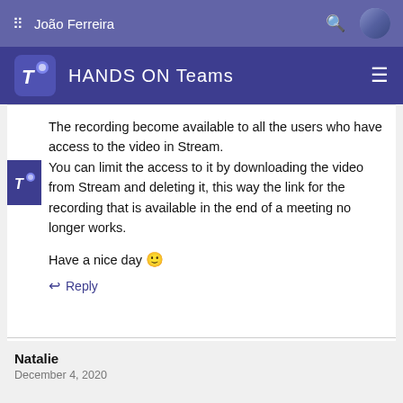João Ferreira
HANDS ON Teams
The recording become available to all the users who have access to the video in Stream. You can limit the access to it by downloading the video from Stream and deleting it, this way the link for the recording that is available in the end of a meeting no longer works.
Have a nice day 🙂
↩ Reply
Natalie
December 4, 2020